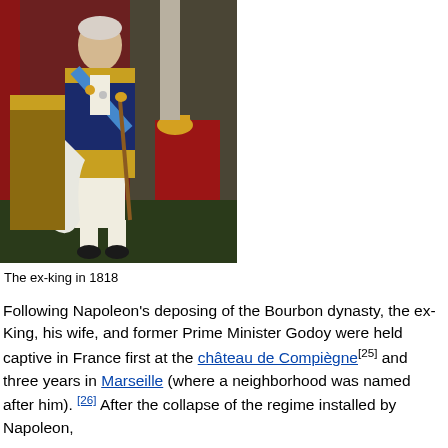[Figure (photo): Portrait painting of the ex-king Charles IV of Spain in 1818, shown in full regalia with blue sash, ornate military uniform with gold embroidery, holding a cane, with a crown visible on a red cushion beside him. Background shows red drapery and classical columns.]
The ex-king in 1818
Following Napoleon's deposing of the Bourbon dynasty, the ex-King, his wife, and former Prime Minister Godoy were held captive in France first at the château de Compiègne[25] and three years in Marseille (where a neighborhood was named after him). [26] After the collapse of the regime installed by Napoleon,